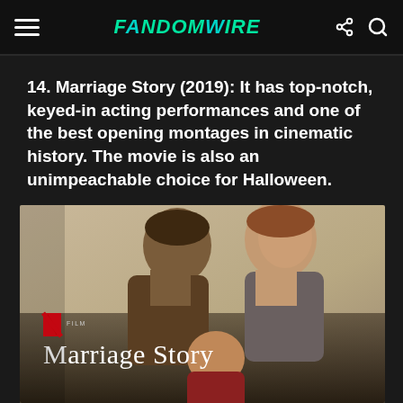FANDOMWIRE
14. Marriage Story (2019): It has top-notch, keyed-in acting performances and one of the best opening montages in cinematic history. The movie is also an unimpeachable choice for Halloween.
[Figure (photo): Netflix film 'Marriage Story' movie poster showing two adults and a child in a warm embrace against a beige background]